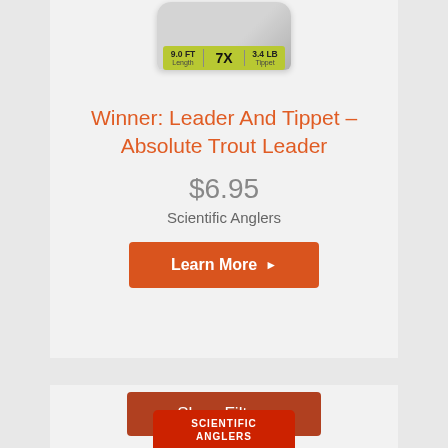[Figure (photo): Product image of a fishing leader/tippet package - foil pouch with green label showing 9.0FT, 7X, 3.4LB]
Winner: Leader And Tippet – Absolute Trout Leader
$6.95
Scientific Anglers
Learn More ▶
Show Filters
[Figure (photo): Scientific Anglers product package - red rectangular box with Scientific Anglers logo]